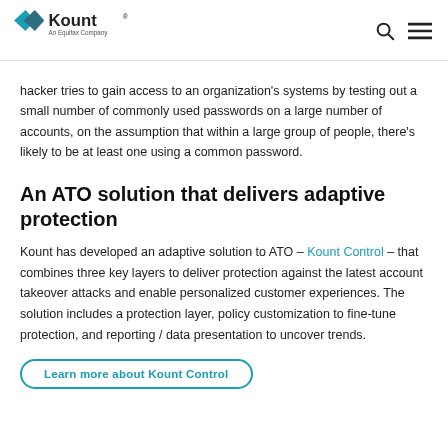Kount – An Equifax Company
hacker tries to gain access to an organization's systems by testing out a small number of commonly used passwords on a large number of accounts, on the assumption that within a large group of people, there's likely to be at least one using a common password.
An ATO solution that delivers adaptive protection
Kount has developed an adaptive solution to ATO – Kount Control – that combines three key layers to deliver protection against the latest account takeover attacks and enable personalized customer experiences. The solution includes a protection layer, policy customization to fine-tune protection, and reporting / data presentation to uncover trends.